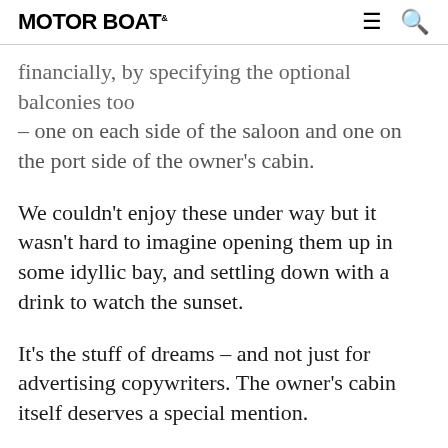MOTORBOAT
financially, by specifying the optional balconies too – one on each side of the saloon and one on the port side of the owner's cabin.
We couldn't enjoy these under way but it wasn't hard to imagine opening them up in some idyllic bay, and settling down with a drink to watch the sunset.
It's the stuff of dreams – and not just for advertising copywriters. The owner's cabin itself deserves a special mention.
Positioned forward on the main deck, this superb